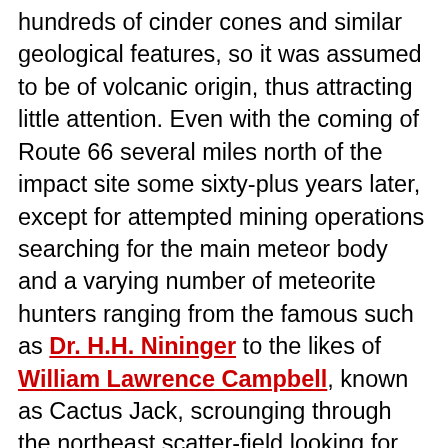hundreds of cinder cones and similar geological features, so it was assumed to be of volcanic origin, thus attracting little attention. Even with the coming of Route 66 several miles north of the impact site some sixty-plus years later, except for attempted mining operations searching for the main meteor body and a varying number of meteorite hunters ranging from the famous such as Dr. H.H. Nininger to the likes of William Lawrence Campbell, known as Cactus Jack, scrounging through the northeast scatter-field looking for meteorite scraps, most of the crater and the land around it remained untouched. At the time the La Paz article was published the area was still much as it had been when Franklin first wrote his report and any reputed archeological sites were pretty much left untouched or ignored. The crater was neither monitored nor patrolled, quite sparse, and for all practical purposes